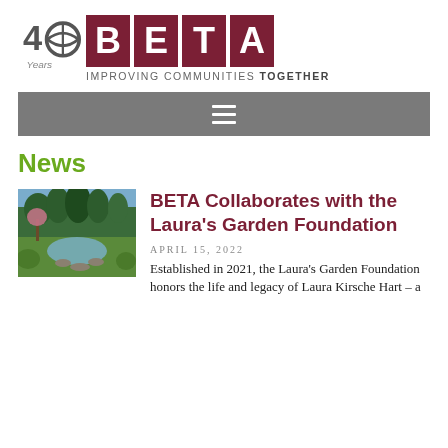[Figure (logo): BETA Group 40 Years logo with red square B E T A letters and tagline IMPROVING COMMUNITIES TOGETHER]
[Figure (other): Gray navigation bar with hamburger menu icon (three horizontal white lines)]
News
[Figure (photo): Thumbnail photo of a garden with a pond, green plants, trees in background]
BETA Collaborates with the Laura's Garden Foundation
APRIL 15, 2022
Established in 2021, the Laura's Garden Foundation honors the life and legacy of Laura Kirsche Hart – a